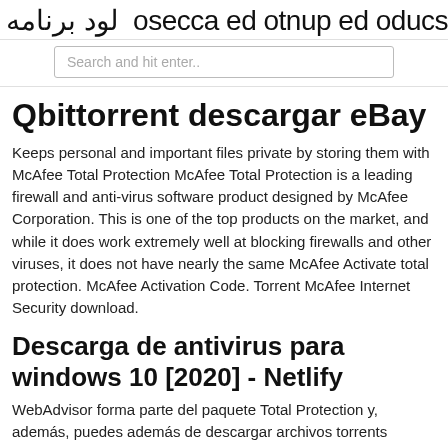لود برنامه scudo de punto de acceso
Search and hit enter..
Qbittorrent descargar eBay
Keeps personal and important files private by storing them with McAfee Total Protection McAfee Total Protection is a leading firewall and anti-virus software product designed by McAfee Corporation. This is one of the top products on the market, and while it does work extremely well at blocking firewalls and other viruses, it does not have nearly the same McAfee Activate total protection. McAfee Activation Code. Torrent McAfee Internet Security download.
Descarga de antivirus para windows 10 [2020] - Netlify
WebAdvisor forma parte del paquete Total Protection y, además, puedes además de descargar archivos torrents pesados y ver vídeos en directo online. μTorrent® (uTorrent) Web torrent client for Windows -- uTorrent is a browser Award-